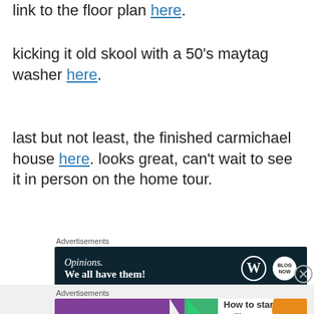link to the floor plan here.
kicking it old skool with a 50's maytag washer here.
last but not least, the finished carmichael house here. looks great, can't wait to see it in person on the home tour.
[Figure (infographic): WordPress advertisement banner: dark navy background with 'Opinions. We all have them!' text and WordPress/Blog Now logos]
[Figure (infographic): WooCommerce advertisement banner: purple background with WooCommerce logo, green arrow, and text 'How to start selling subscriptions online']